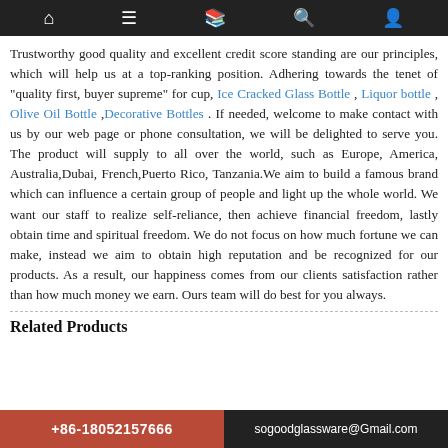Navigation bar with home, menu, book, search, and user icons
Trustworthy good quality and excellent credit score standing are our principles, which will help us at a top-ranking position. Adhering towards the tenet of "quality first, buyer supreme" for cup, Ice Cracked Glass Bottle , Liquor bottle , Olive Oil Bottle ,Decorative Bottles . If needed, welcome to make contact with us by our web page or phone consultation, we will be delighted to serve you. The product will supply to all over the world, such as Europe, America, Australia,Dubai, French,Puerto Rico, Tanzania.We aim to build a famous brand which can influence a certain group of people and light up the whole world. We want our staff to realize self-reliance, then achieve financial freedom, lastly obtain time and spiritual freedom. We do not focus on how much fortune we can make, instead we aim to obtain high reputation and be recognized for our products. As a result, our happiness comes from our clients satisfaction rather than how much money we earn. Ours team will do best for you always.
Related Products
+86-18052157666   sogoodglassware@Gmail.com